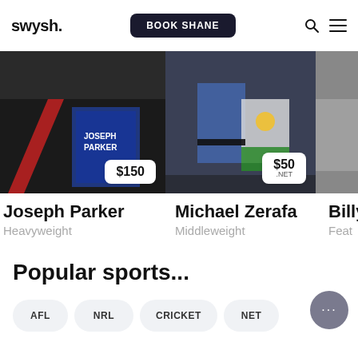swysh. | BOOK SHANE
[Figure (photo): Joseph Parker boxing photo with $150 price badge]
Joseph Parker
Heavyweight
[Figure (photo): Michael Zerafa boxing photo with $50 .NET price badge]
Michael Zerafa
Middleweight
[Figure (photo): Partial third athlete photo (Billy)]
Billy
Feath
Popular sports...
AFL
NRL
CRICKET
NET